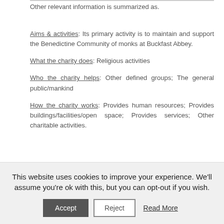Other relevant information is summarized as:
Aims & activities: Its primary activity is to maintain and support the Benedictine Community of monks at Buckfast Abbey.
What the charity does: Religious activities
Who the charity helps: Other defined groups; The general public/mankind
How the charity works: Provides human resources; Provides buildings/facilities/open space; Provides services; Other charitable activities.
This charity has one or more trading subsidiaries and is recognised by HMRC for gift aid. Its charitable objects...
This website uses cookies to improve your experience. We'll assume you're ok with this, but you can opt-out if you wish.